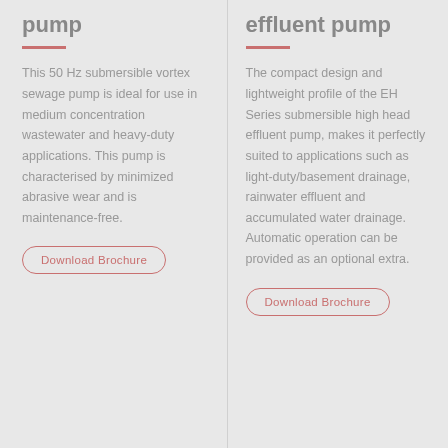pump
This 50 Hz submersible vortex sewage pump is ideal for use in medium concentration wastewater and heavy-duty applications. This pump is characterised by minimized abrasive wear and is maintenance-free.
Download Brochure
effluent pump
The compact design and lightweight profile of the EH Series submersible high head effluent pump, makes it perfectly suited to applications such as light-duty/basement drainage, rainwater effluent and accumulated water drainage. Automatic operation can be provided as an optional extra.
Download Brochure